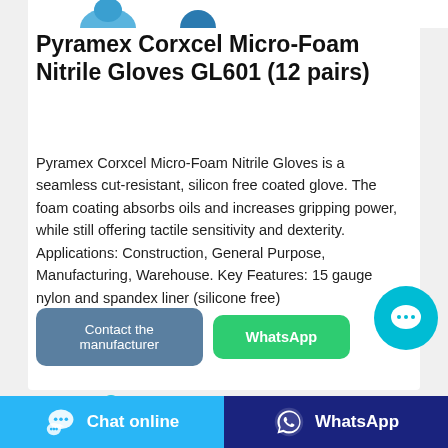[Figure (photo): Partial product images of blue nitrile gloves at top of card]
Pyramex Corxcel Micro-Foam Nitrile Gloves GL601 (12 pairs)
Pyramex Corxcel Micro-Foam Nitrile Gloves is a seamless cut-resistant, silicon free coated glove. The foam coating absorbs oils and increases gripping power, while still offering tactile sensitivity and dexterity. Applications: Construction, General Purpose, Manufacturing, Warehouse. Key Features: 15 gauge nylon and spandex liner (silicone free)
[Figure (screenshot): Contact the manufacturer button (blue-grey) and WhatsApp button (green)]
[Figure (screenshot): Cyan circular chat bubble floating button with ellipsis icon]
[Figure (photo): Partial product images of gloves at bottom of card]
Chat online | WhatsApp